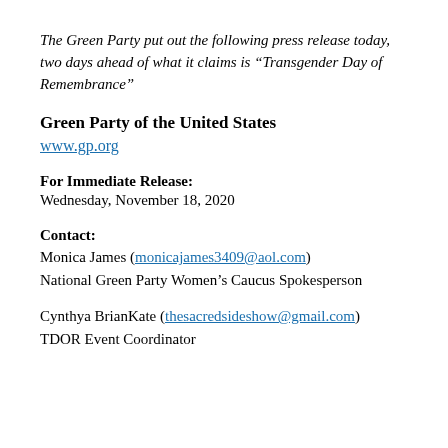The Green Party put out the following press release today, two days ahead of what it claims is “Transgender Day of Remembrance”
Green Party of the United States
www.gp.org
For Immediate Release:
Wednesday, November 18, 2020
Contact:
Monica James (monicajames3409@aol.com)
National Green Party Women’s Caucus Spokesperson
Cynthya BrianKate (thesacredsideshow@gmail.com)
TDOR Event Coordinator